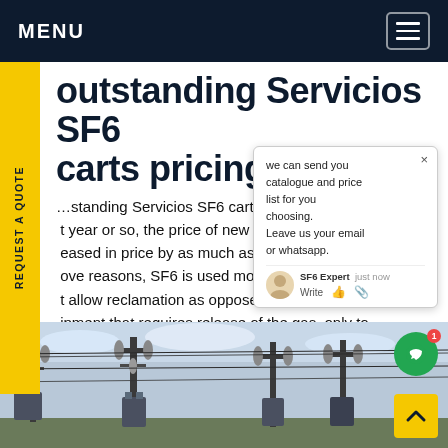MENU
outstanding Servicios SF6 carts pricing
outstanding Servicios SF6 carts pricing… the last year or so, the price of new SF6… increased in price by as much as 60… above reasons, SF6 is used mostly in… s that allow reclamation as opposed to… equipment that requires release of the gas, only to be re-filled with virgin SF6. Get price
[Figure (screenshot): Chat popup widget showing 'we can send you catalogue and price list for you choosing. Leave us your email or whatsapp.' with SF6 Expert avatar and write input area]
[Figure (photo): Electrical substation with transformers and power lines against a cloudy sky]